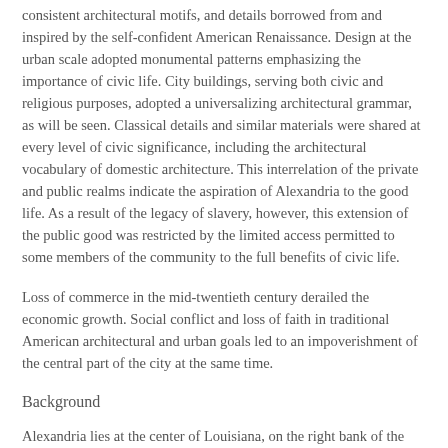consistent architectural motifs, and details borrowed from and inspired by the self-confident American Renaissance. Design at the urban scale adopted monumental patterns emphasizing the importance of civic life. City buildings, serving both civic and religious purposes, adopted a universalizing architectural grammar, as will be seen. Classical details and similar materials were shared at every level of civic significance, including the architectural vocabulary of domestic architecture. This interrelation of the private and public realms indicate the aspiration of Alexandria to the good life. As a result of the legacy of slavery, however, this extension of the public good was restricted by the limited access permitted to some members of the community to the full benefits of civic life.
Loss of commerce in the mid-twentieth century derailed the economic growth. Social conflict and loss of faith in traditional American architectural and urban goals led to an impoverishment of the central part of the city at the same time.
Background
Alexandria lies at the center of Louisiana, on the right bank of the